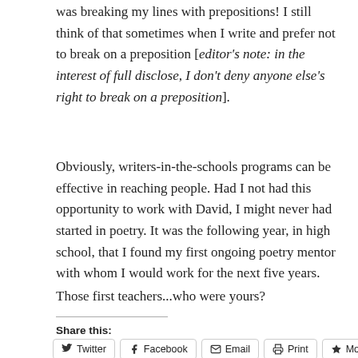was breaking my lines with prepositions! I still think of that sometimes when I write and prefer not to break on a preposition [editor's note: in the interest of full disclose, I don't deny anyone else's right to break on a preposition].
Obviously, writers-in-the-schools programs can be effective in reaching people. Had I not had this opportunity to work with David, I might never had started in poetry. It was the following year, in high school, that I found my first ongoing poetry mentor with whom I would work for the next five years.
Those first teachers...who were yours?
Share this: